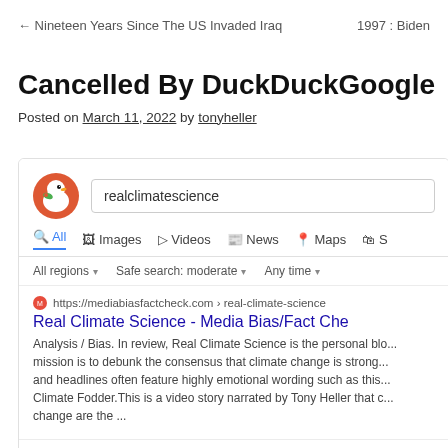← Nineteen Years Since The US Invaded Iraq    1997 : Biden
Cancelled By DuckDuckGoogle
Posted on March 11, 2022 by tonyheller
[Figure (screenshot): DuckDuckGo search results page for 'realclimatescience', showing Media Bias/Fact Check as the top result instead of the actual realclimatescience.com site. Tabs shown: All, Images, Videos, News, Maps, S... Filters: All regions, Safe search: moderate, Any time. Top result from mediabiasfactcheck.com/real-climate-science titled 'Real Climate Science - Media Bias/Fact Che...' with snippet about bias analysis.]